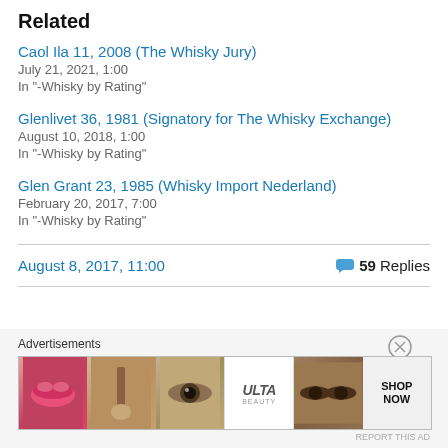Related
Caol Ila 11, 2008 (The Whisky Jury)
July 21, 2021, 1:00
In "-Whisky by Rating"
Glenlivet 36, 1981 (Signatory for The Whisky Exchange)
August 10, 2018, 1:00
In "-Whisky by Rating"
Glen Grant 23, 1985 (Whisky Import Nederland)
February 20, 2017, 7:00
In "-Whisky by Rating"
August 8, 2017, 11:00    💬 59 Replies
Advertisements
[Figure (photo): Advertisement banner for ULTA beauty showing makeup/cosmetic images including lips, makeup brush, eye, ULTA logo, eyes, and SHOP NOW text]